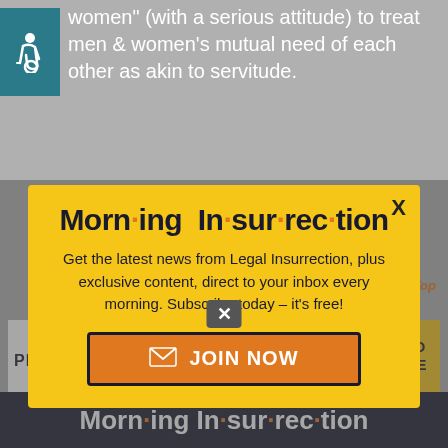[Figure (illustration): Wheelchair accessibility icon on teal/dark cyan background]
women" (with a serious attitude) to treat men & women's mutual need of each other as akin to servitude.
[Figure (infographic): Morning Insurrection newsletter signup modal with yellow background, close button X, title 'Morn·ing In·sur·rec·tion', body text and JOIN NOW button]
to the full extent allowed by law.
Back to Top
[Figure (infographic): The Perspective advertisement bar: 'SEE WHAT YOU'RE MISSING' with READ MORE button]
Morn·ing In·sur·rec·tion